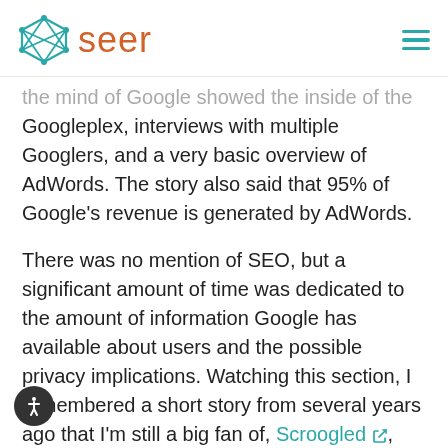seer
the mind of Google showed the inside of the Googleplex, interviews with multiple Googlers, and a very basic overview of AdWords. The story also said that 95% of Google's revenue is generated by AdWords.
There was no mention of SEO, but a significant amount of time was dedicated to the amount of information Google has available about users and the possible privacy implications. Watching this section, I remembered a short story from several years ago that I'm still a big fan of, Scroogled, and wanted to share it. Between our search history, Gmail, YouTube uploads and views,